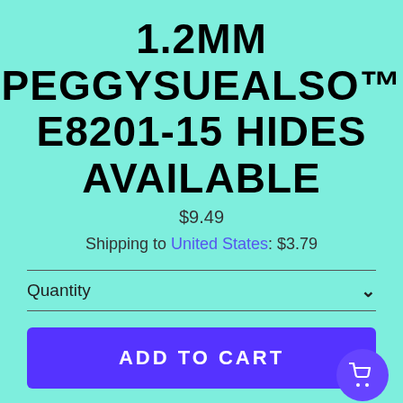1.2MM PEGGYSUEALSO™ E8201-15 HIDES AVAILABLE
$9.49
Shipping to United States: $3.79
Quantity
ADD TO CART
★★★★★ (21)